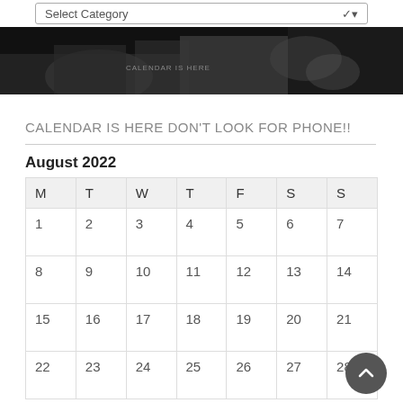[Figure (screenshot): Dropdown select box with label 'Select Category' and a chevron down arrow on the right]
[Figure (photo): Black and white photo strip showing people in a dark setting]
CALENDAR IS HERE DON'T LOOK FOR PHONE!!
August 2022
| M | T | W | T | F | S | S |
| --- | --- | --- | --- | --- | --- | --- |
| 1 | 2 | 3 | 4 | 5 | 6 | 7 |
| 8 | 9 | 10 | 11 | 12 | 13 | 14 |
| 15 | 16 | 17 | 18 | 19 | 20 | 21 |
| 22 | 23 | 24 | 25 | 26 | 27 | 28 |